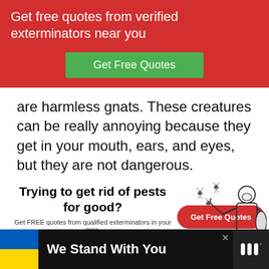Get free quotes from verified exterminators near you
[Figure (other): Green button: Get Free Quotes]
are harmless gnats. These creatures can be really annoying because they get in your mouth, ears, and eyes, but they are not dangerous.
[Figure (infographic): Ad box: Trying to get rid of pests for good? Get FREE quotes from qualified exterminators in your area. Red Get Free Quotes button. Illustration of exterminator with spray equipment and gnats.]
[Figure (infographic): Bottom banner ad: Ukraine flag colors square, text We Stand With You, close X button, Meredith logo on dark background]